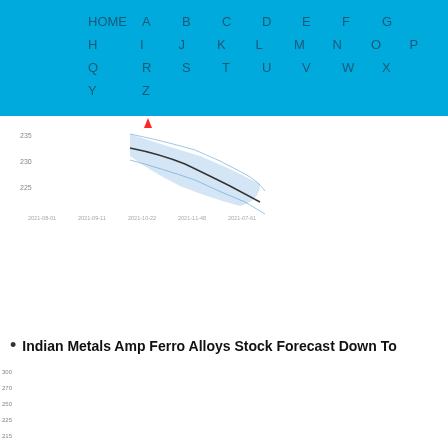HOME A B C D E F G H I J K L M N O P Q R S T U V W X Y Z
[Figure (continuous-plot): Partial stock forecast chart showing a downward trend line with confidence interval shading, black line with blue shaded region, x-axis dates around 2021-2022]
Indian Metals Amp Ferro Alloys Stock Forecast Down To
[Figure (continuous-plot): Indian Metals Amp Ferro Alloys stock chart showing price history with two smoothed curves (red and blue), and volume bars at the bottom. Y-axis left shows price values roughly 20-300, y-axis right shows values roughly 5-65. X-axis shows numbered time periods 1 through 65.]